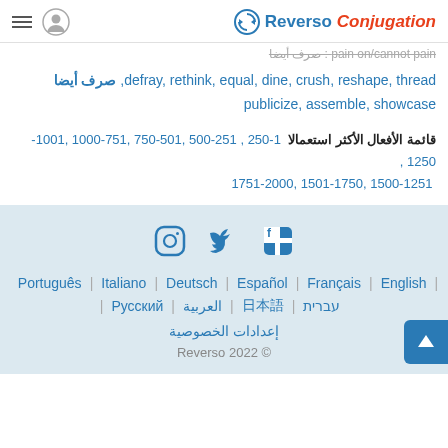Reverso Conjugation
صرف أيضا defray, rethink, equal, dine, crush, reshape, thread, publicize, assemble, showcase
قائمة الأفعال الأكثر استعمالا 1-250 , 251-500 ,501-750 ,751-1000 ,1001-1250 ,1251-1500 ,1501-1750 ,1751-2000
[Figure (infographic): Social media icons: Instagram, Twitter, Facebook]
Português | Italiano | Deutsch | Español | Français | English | עברית | 日本語 | العربية | Русский
إعدادات الخصوصية
Reverso 2022 ©